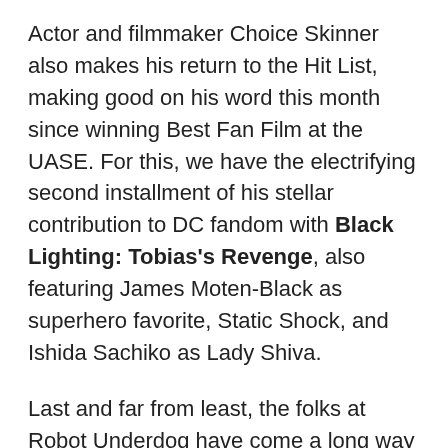Actor and filmmaker Choice Skinner also makes his return to the Hit List, making good on his word this month since winning Best Fan Film at the UASE. For this, we have the electrifying second installment of his stellar contribution to DC fandom with Black Lighting: Tobias's Revenge, also featuring James Moten-Black as superhero favorite, Static Shock, and Ishida Sachiko as Lady Shiva.
Last and far from least, the folks at Robot Underdog have come a long way from their beginnings prior to the 2015 hit pilot for Dragonball Z: Light Of Hope. Their huge undertaking, preceded by nearly ten million views online with Anton Bex and Jack Wald starring, has since offered an epic two-part helping with episodes 2 and 3 knit together for a sprawling, spectacular and explosive sequel that sees the return of Amy Johnston and Tyler Tackett as Androids 17 and 18 in their quest to playfully